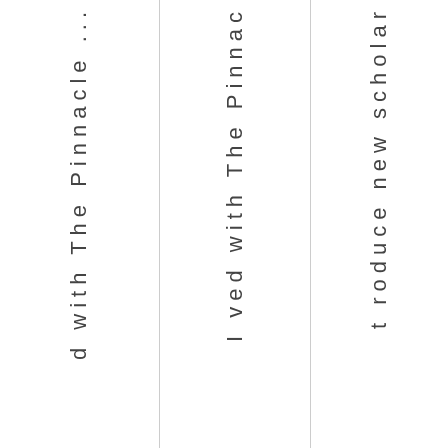d with The Pinnacle ...
I ved with The Pinnac
t roduce new scholar